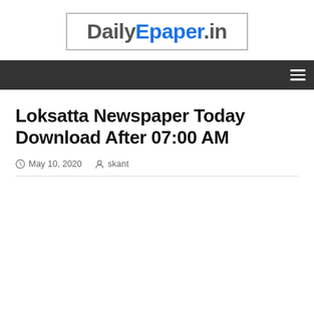[Figure (logo): DailyEpaper.in logo in a bordered box, with 'Daily' in gray bold, 'Epaper' in blue bold, and '.in' in gray bold]
Navigation bar with hamburger menu icon
Loksatta Newspaper Today Download After 07:00 AM
May 10, 2020  skant